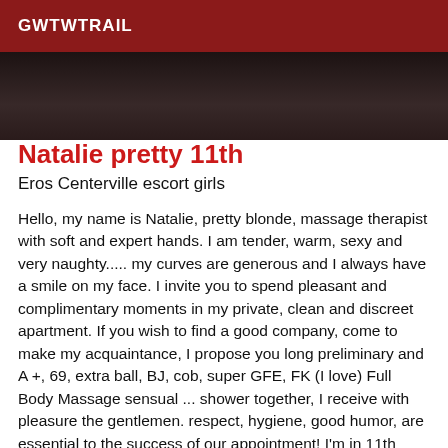GWTWTRAIL
[Figure (photo): Partial photo of a person, dark/blurred, shown as a strip behind the header area]
Natalie pretty 11th
Eros Centerville escort girls
Hello, my name is Natalie, pretty blonde, massage therapist with soft and expert hands. I am tender, warm, sexy and very naughty..... my curves are generous and I always have a smile on my face. I invite you to spend pleasant and complimentary moments in my private, clean and discreet apartment. If you wish to find a good company, come to make my acquaintance, I propose you long preliminary and A +, 69, extra ball, BJ, cob, super GFE, FK (I love) Full Body Massage sensual ... shower together, I receive with pleasure the gentlemen. respect, hygiene, good humor, are essential to the success of our appointment! I'm in 11th metro voltaire Ps: The photos are real, I am blonde with fair skin and very thin. Hot video youtube